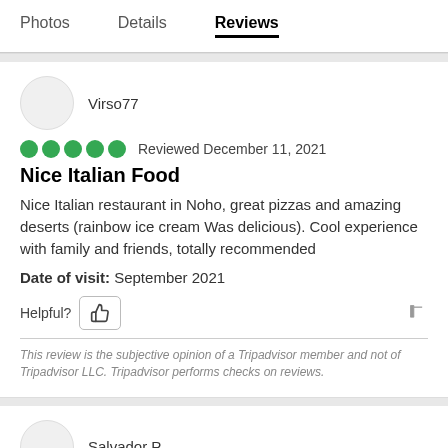Photos   Details   Reviews
Virso77
Reviewed December 11, 2021
Nice Italian Food
Nice Italian restaurant in Noho, great pizzas and amazing deserts (rainbow ice cream Was delicious). Cool experience with family and friends, totally recommended
Date of visit: September 2021
Helpful?
This review is the subjective opinion of a Tripadvisor member and not of Tripadvisor LLC. Tripadvisor performs checks on reviews.
Salvador P
Reviewed October 27, 2021   via mobile